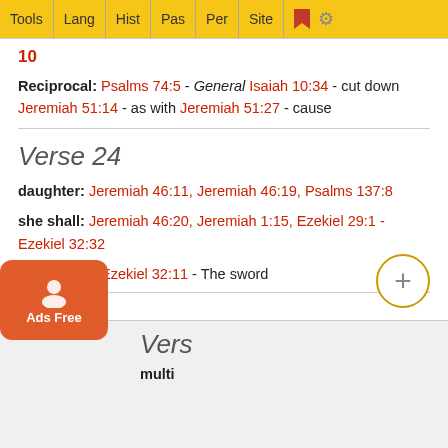Tools | Lang | Hist | Pas | Per | Site
10
Reciprocal: Psalms 74:5 - General Isaiah 10:34 - cut down Jeremiah 51:14 - as with Jeremiah 51:27 - cause
Verse 24
daughter: Jeremiah 46:11, Jeremiah 46:19, Psalms 137:8
she shall: Jeremiah 46:20, Jeremiah 1:15, Ezekiel 29:1 - Ezekiel 32:32
Reciprocal: Ezekiel 32:11 - The sword
Vers
multi